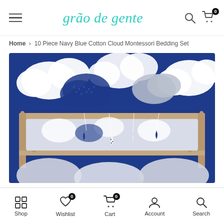grão de gente — navigation header with hamburger menu, logo, search and cart icons
Home > 10 Piece Navy Blue Cotton Cloud Montessori Bedding Set
[Figure (photo): Product photo of a Montessori bed frame with cloud-themed navy blue and white bedding set. The background shows a navy blue cloud pattern wallpaper. A wooden Montessori floor bed frame is shown with white and navy cloud bedding, featuring hanging droplet/teardrop mobile decorations.]
Shop | Wishlist 0 | Cart 0 | Account | Search